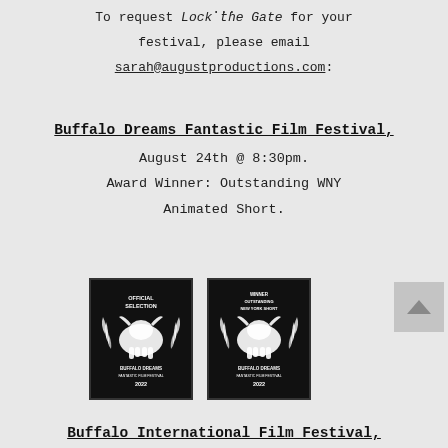To request Lock the Gate for your festival, please email sarah@augustproductions.com:
Buffalo Dreams Fantastic Film Festival, August 24th @ 8:30pm. Award Winner: Outstanding WNY Animated Short.
[Figure (logo): Buffalo Dreams Fantastic Film Festival 2022 Official Selection badge — black square with bull logo and laurel wreath]
[Figure (logo): Buffalo Dreams Fantastic Film Festival 2022 Winner Outstanding New York Short badge — black square with bull logo and laurel wreath]
Buffalo International Film Festival,